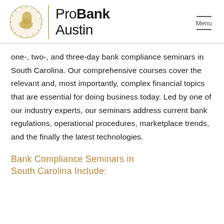ProBank Austin | Menu
one-, two-, and three-day bank compliance seminars in South Carolina. Our comprehensive courses cover the relevant and, most importantly, complex financial topics that are essential for doing business today. Led by one of our industry experts, our seminars address current bank regulations, operational procedures, marketplace trends, and the finally the latest technologies.
Bank Compliance Seminars in South Carolina Include: